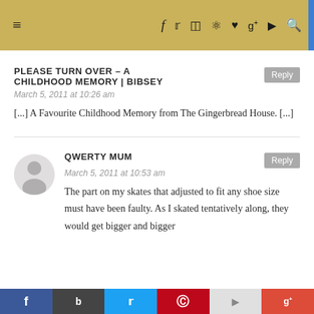≡  f  ✦  ✦  ✦  ♥  g+  ▶  🔍
PLEASE TURN OVER – A CHILDHOOD MEMORY | BIBSEY
March 5, 2011 at 10:26 am
[...] A Favourite Childhood Memory from The Gingerbread House. [...]
QWERTY MUM
March 5, 2011 at 10:53 am
The part on my skates that adjusted to fit any shoe size must have been faulty. As I skated tentatively along, they would get bigger and bigger
Share bar: Facebook, Bookmark, Twitter, Pinterest, Flipboard, Google+